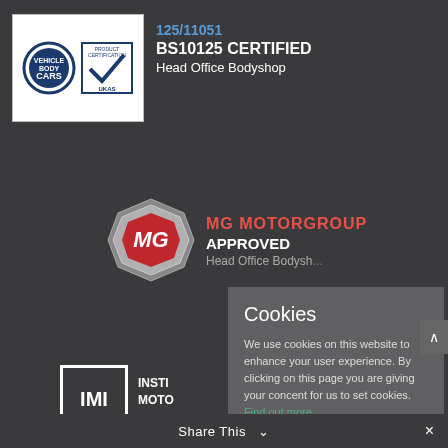[Figure (logo): CARS and UKAS Product Certification logos side by side in white box]
125/11051
BS10125 CERTIFIED
Head Office Bodyshop
[Figure (logo): MG hexagonal chrome logo]
MG MOTORGROUP
APPROVED
Head Office Bodyshop
[Figure (logo): IMI Institute of the Motor Industry logo in white square border]
INSTI
MOTO
[Figure (logo): VBRA logo on black diagonal parallelogram]
[Figure (logo): OFT Approved code logo]
Cookies
We use cookies on this website to enhance your user experience. By clicking on this page you are giving your concent for us to set cookies.
Find out more.
Okay, thank you
Share This ∨  ×